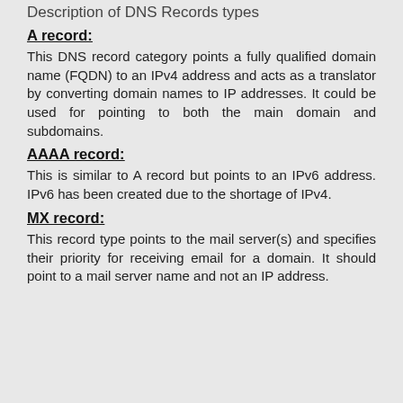Description of DNS Records types
A record:
This DNS record category points a fully qualified domain name (FQDN) to an IPv4 address and acts as a translator by converting domain names to IP addresses. It could be used for pointing to both the main domain and subdomains.
AAAA record:
This is similar to A record but points to an IPv6 address. IPv6 has been created due to the shortage of IPv4.
MX record:
This record type points to the mail server(s) and specifies their priority for receiving email for a domain. It should point to a mail server name and not an IP address.